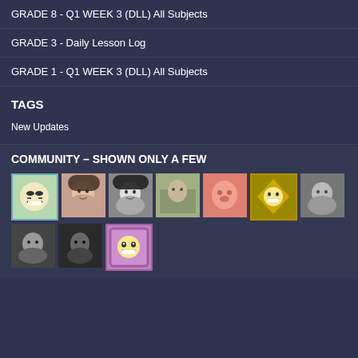GRADE 8 - Q1 WEEK 3 (DLL) All Subjects
GRADE 3 - Daily Lesson Log
GRADE 1 - Q1 WEEK 3 (DLL) All Subjects
TAGS
New Updates
COMMUNITY – SHOWN ONLY A FEW
[Figure (photo): Grid of community member avatar photos, 10 avatars shown in two rows]